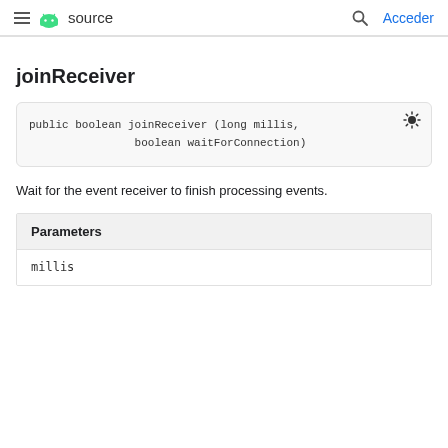≡ source  🔍 Acceder
joinReceiver
Wait for the event receiver to finish processing events.
| Parameters |
| --- |
| millis |